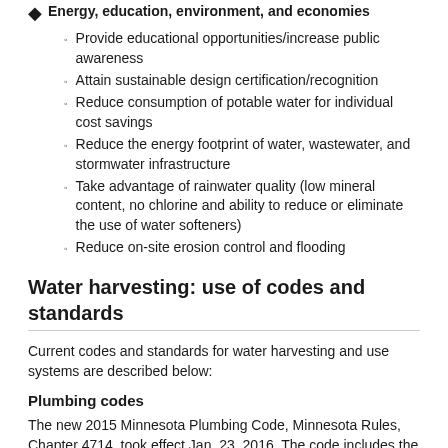Energy, education, environment, and economics
Provide educational opportunities/increase public awareness
Attain sustainable design certification/recognition
Reduce consumption of potable water for individual cost savings
Reduce the energy footprint of water, wastewater, and stormwater infrastructure
Take advantage of rainwater quality (low mineral content, no chlorine and ability to reduce or eliminate the use of water softeners)
Reduce on-site erosion control and flooding
Water harvesting: use of codes and standards
Current codes and standards for water harvesting and use systems are described below:
Plumbing codes
The new 2015 Minnesota Plumbing Code, Minnesota Rules, Chapter 4714, took effect Jan. 23, 2016. The code includes the